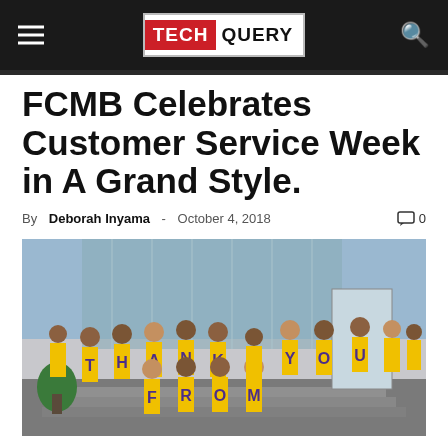TECHQUERY
FCMB Celebrates Customer Service Week in A Grand Style.
By Deborah Inyama - October 4, 2018 | 0 comments
[Figure (photo): Group photo of FCMB staff wearing yellow t-shirts with purple letters spelling THANK YOU FROM, posing in front of an office building]